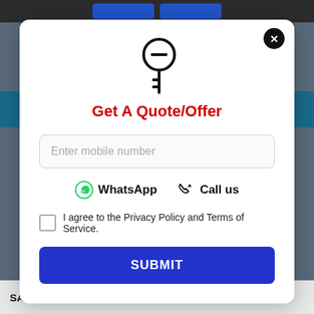[Figure (screenshot): Modal dialog for getting a quote/offer on an automobile website. Contains a key icon, title 'Get A Quote/Offer', mobile number input, WhatsApp and Call us options, privacy policy checkbox, and a Submit button. Background shows a website with a dark header and teal bar. Bottom text reads 'SABOO RKS is Hyderabad's leading automobile']
Get A Quote/Offer
Enter mobile number
WhatsApp   Call us
I agree to the Privacy Policy and Terms of Service.
SUBMIT
SABOO RKS is Hyderabad's leading automobile